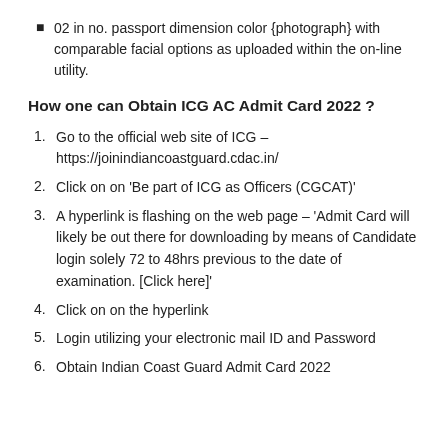02 in no. passport dimension color {photograph} with comparable facial options as uploaded within the on-line utility.
How one can Obtain ICG AC Admit Card 2022 ?
Go to the official web site of ICG – https://joinindiancoastguard.cdac.in/
Click on on 'Be part of ICG as Officers (CGCAT)'
A hyperlink is flashing on the web page – 'Admit Card will likely be out there for downloading by means of Candidate login solely 72 to 48hrs previous to the date of examination. [Click here]'
Click on on the hyperlink
Login utilizing your electronic mail ID and Password
Obtain Indian Coast Guard Admit Card 2022